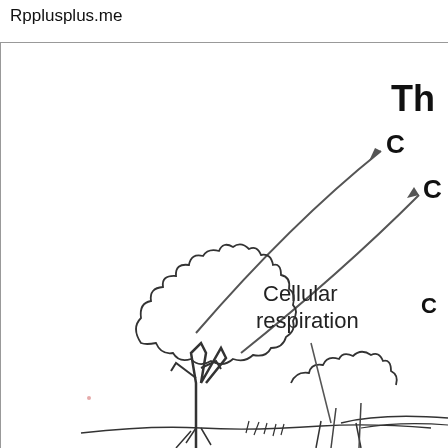Rpplusplus.me
[Figure (illustration): Partial view of a biology diagram showing the carbon cycle or photosynthesis/cellular respiration cycle. A tree is illustrated in the lower center-left. Two curved arrows point toward the upper right, labeled 'Cellular respiration' and partially visible labels 'Th', 'C', 'C' in the upper right corner (cut off). The diagram shows arrows indicating gas exchange processes related to cellular respiration.]